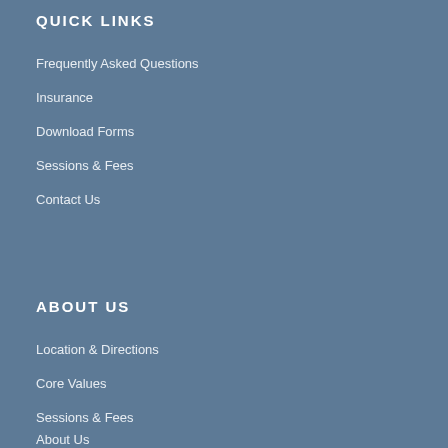QUICK LINKS
Frequently Asked Questions
Insurance
Download Forms
Sessions & Fees
Contact Us
ABOUT US
Location & Directions
Core Values
Sessions & Fees
About Us